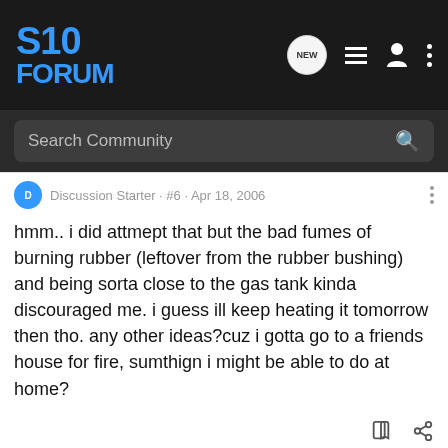S10 Forum
Search Community
Discussion Starter · #6 · Apr 18, 2006
hmm.. i did attmept that but the bad fumes of burning rubber (leftover from the rubber bushing) and being sorta close to the gas tank kinda discouraged me. i guess ill keep heating it tomorrow then tho. any other ideas?cuz i gotta go to a friends house for fire, sumthign i might be able to do at home?
95projectS-Dime · Registered
Joined Mar 13, 2006 · 1,438 Posts
#7 · Apr 18, 2006